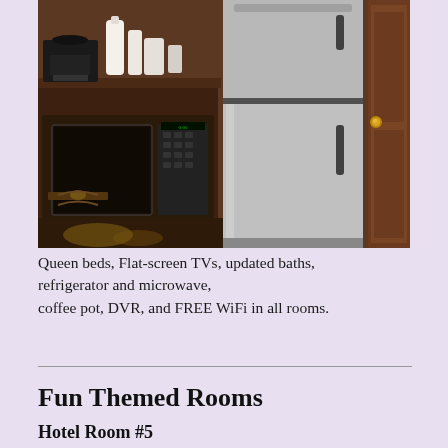[Figure (photo): Interior photo of a motel room kitchenette area showing a stainless steel mini refrigerator with freezer on top, a microwave on a dark wooden stand to the left, a coffee maker and white bottles on top of the microwave stand, and a wooden wardrobe/closet on the right with a round brass knob.]
Queen beds, Flat-screen TVs, updated baths, refrigerator and microwave, coffee pot, DVR, and FREE WiFi in all rooms.
Fun Themed Rooms
Hotel Room #5